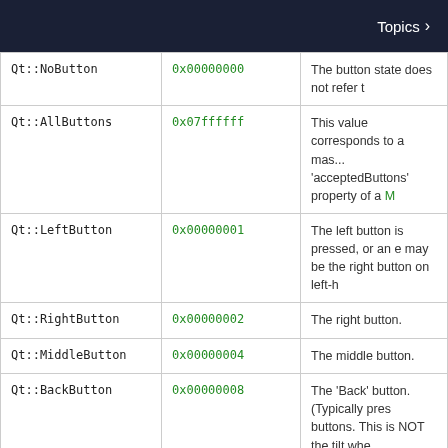Topics >
| Constant | Value | Description |
| --- | --- | --- |
| Qt::NoButton | 0x00000000 | The button state does not refer t... |
| Qt::AllButtons | 0x07ffffff | This value corresponds to a mas... 'acceptedButtons' property of a ... |
| Qt::LeftButton | 0x00000001 | The left button is pressed, or an ... may be the right button on left-h... |
| Qt::RightButton | 0x00000002 | The right button. |
| Qt::MiddleButton | 0x00000004 | The middle button. |
| Qt::BackButton | 0x00000008 | The 'Back' button. (Typically pres... buttons. This is NOT the tilt whe... |
| Qt::XButton1 | BackButton | The 'Back' Button. |
| Qt::ExtraButton1 | XButton1 | The 'Back' Button. |
| Qt::ForwardButton | 0x00000010 | The 'Forward' Button. (Typically p... by the thumb.) |
| Qt::XButton2 | ForwardButton | The 'Forward Button. |
| Qt::ExtraButton2 | ForwardButton | The 'Forward' Button. |